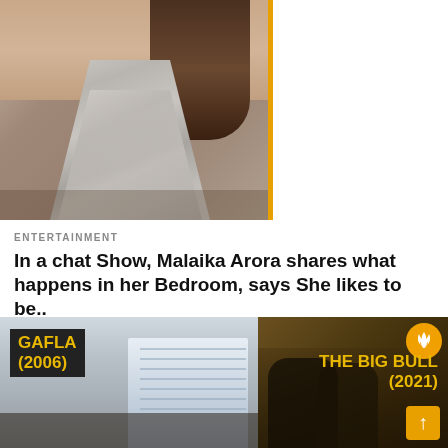[Figure (photo): Top section with two panels: left shows a woman in a silver dress with dark hair, right shows a dark maroon background with bold yellow italic text reading 'I LIKE BEARD BOYS. I LIKE TO B...' with an orange vertical bar on the left edge]
ENTERTAINMENT
In a chat Show, Malaika Arora shares what happens in her Bedroom, says She likes to be..
[Figure (photo): Bottom section with two panels: left shows movie poster for GAFLA (2006) with building background and yellow text on dark banner, right shows movie poster for THE BIG BULL (2021) on dark/brown background with orange fire badge and up-arrow button]